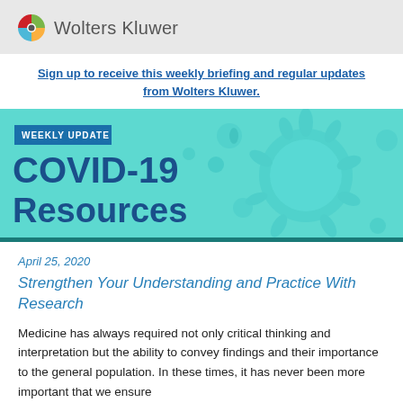Wolters Kluwer
Sign up to receive this weekly briefing and regular updates from Wolters Kluwer.
[Figure (illustration): COVID-19 Resources weekly update banner with teal background showing coronavirus particle illustration. Text reads: WEEKLY UPDATE, COVID-19 Resources]
April 25, 2020
Strengthen Your Understanding and Practice With Research
Medicine has always required not only critical thinking and interpretation but the ability to convey findings and their importance to the general population. In these times, it has never been more important that we ensure